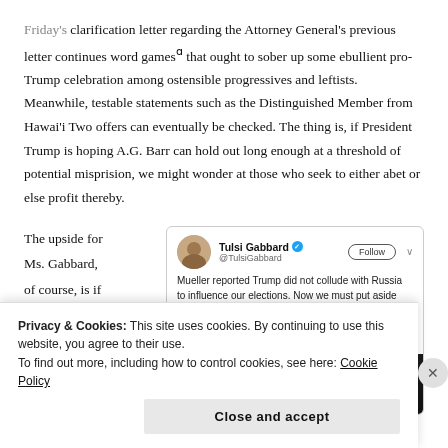Friday's clarification letter regarding the Attorney General's previous letter continues word gamesᵃ that ought to sober up some ebullient pro-Trump celebration among ostensible progressives and leftists. Meanwhile, testable statements such as the Distinguished Member from Hawai'i Two offers can eventually be checked. The thing is, if President Trump is hoping A.G. Barr can hold out long enough at a threshold of potential misprision, we might wonder at those who seek to either abet or else profit thereby.
The upside for Ms. Gabbard, of course, is if it somehow turns out
[Figure (screenshot): Tweet from Tulsi Gabbard (@TulsiGabbard) with Follow button. Tweet text: 'Mueller reported Trump did not collude with Russia to influence our elections. Now we must put aside partisan interests, move forward, and work to unite our country to deal with the serious challenges we face.' Below the text is a partial image showing 'TULSI' in large white letters on a dark background.]
Privacy & Cookies: This site uses cookies. By continuing to use this website, you agree to their use.
To find out more, including how to control cookies, see here: Cookie Policy
Close and accept